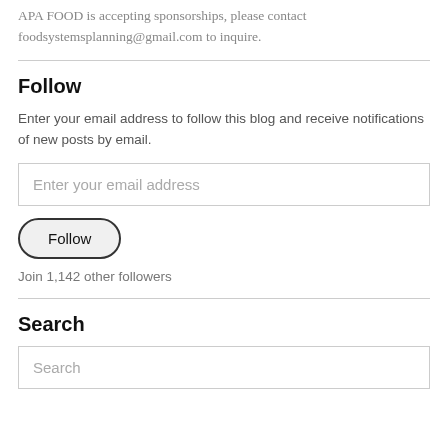APA FOOD is accepting sponsorships, please contact foodsystemsplanning@gmail.com to inquire.
Follow
Enter your email address to follow this blog and receive notifications of new posts by email.
Enter your email address
Follow
Join 1,142 other followers
Search
Search